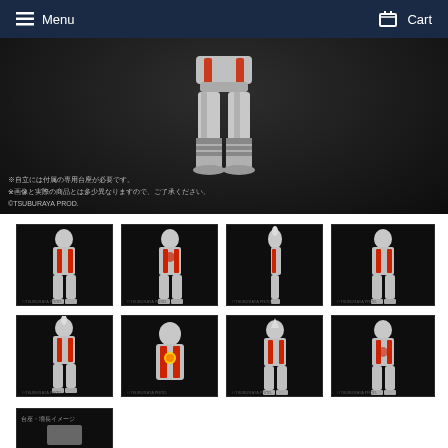Menu  Cart
[Figure (photo): Close-up of Ultraman figure legs and boots against dark background with Japanese text disclaimer and copyright TSUBURAYA PROD.]
[Figure (photo): Ultraman figure full body front view on dark background - thumbnail 1]
[Figure (photo): Ultraman figure full body slight angle view on dark background - thumbnail 2]
[Figure (photo): Ultraman figure side profile view on dark background - thumbnail 3]
[Figure (photo): Ultraman figure full body front view on dark background - thumbnail 4]
[Figure (photo): Ultraman figure full body front view on dark background - thumbnail 5]
[Figure (photo): Ultraman figure close-up torso front view on dark background - thumbnail 6]
[Figure (photo): Ultraman figure full body front view on dark background - thumbnail 7]
[Figure (photo): Ultraman figure full body front view on dark background - thumbnail 8]
[Figure (photo): Small partial thumbnail at bottom - thumbnail 9]